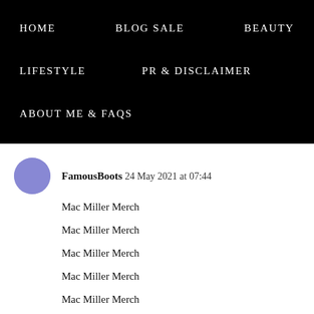HOME   BLOG SALE   BEAUTY   LIFESTYLE   PR & DISCLAIMER   ABOUT ME & FAQs
FamousBoots  24 May 2021 at 07:44
Mac Miller Merch
Mac Miller Merch
Mac Miller Merch
Mac Miller Merch
Mac Miller Merch
Reply